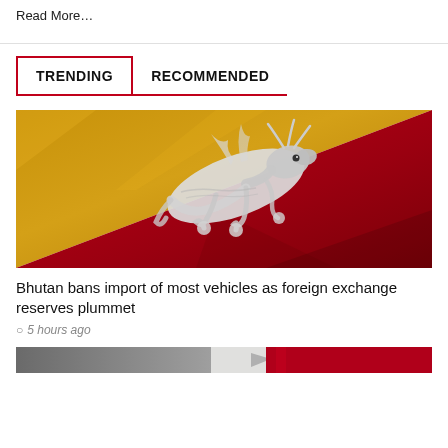Read More…
TRENDING   RECOMMENDED
[Figure (photo): Bhutan national flag with dragon on gold and red background, draped fabric texture]
Bhutan bans import of most vehicles as foreign exchange reserves plummet
5 hours ago
[Figure (photo): Partial strip of next article image, partially visible at bottom]